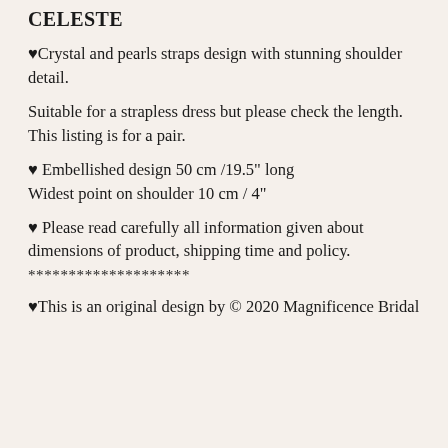CELESTE
♥Crystal and pearls straps design with stunning shoulder detail.
Suitable for a strapless dress but please check the length.
This listing is for a pair.
♥ Embellished design 50 cm /19.5" long
Widest point on shoulder 10 cm / 4"
♥ Please read carefully all information given about dimensions of product, shipping time and policy.
********************
♥This is an original design by © 2020 Magnificence Bridal